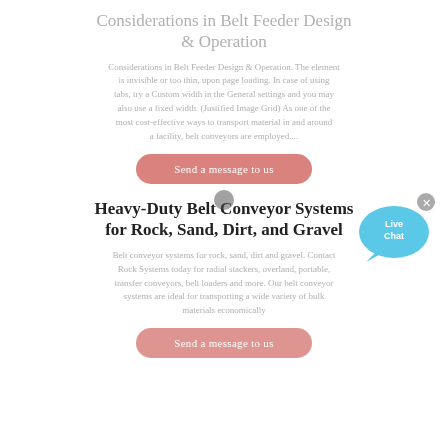Considerations in Belt Feeder Design & Operation
Considerations in Belt Feeder Design & Operation. The element is invisible or too thin, upon page loading. In case of using tabs, try a Custom width in the General settings and you may also use a fixed width. (Justified Image Grid) As one of the most cost-effective ways to transport material in and around a facility, belt conveyors are employed....
[Figure (other): Pink rounded button labeled 'Send a message to us' with a cursor dot overlay]
[Figure (other): Live Chat speech bubble icon with 'Live Chat' text and a close X button]
Heavy-Duty Belt Conveyor Systems for Rock, Sand, Dirt, and Gravel
Belt conveyor systems for rock, sand, dirt and gravel. Contact Rock Systems today for radial stackers, overland, portable, transfer conveyors, belt loaders and more. Our belt conveyor systems are ideal for transporting a wide variety of bulk materials economically
[Figure (other): Pink rounded button labeled 'Send a message to us' partially visible at bottom]